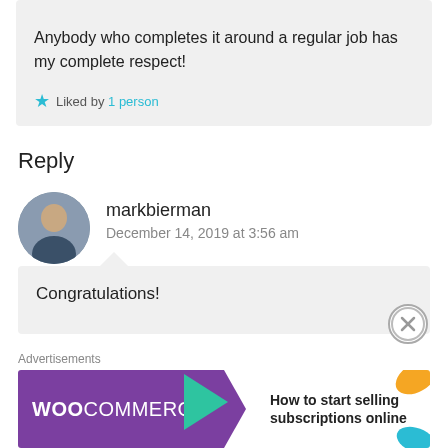Anybody who completes it around a regular job has my complete respect!
★ Liked by 1 person
Reply
markbierman
December 14, 2019 at 3:56 am
Congratulations!
Advertisements
[Figure (screenshot): WooCommerce advertisement banner: 'How to start selling subscriptions online']